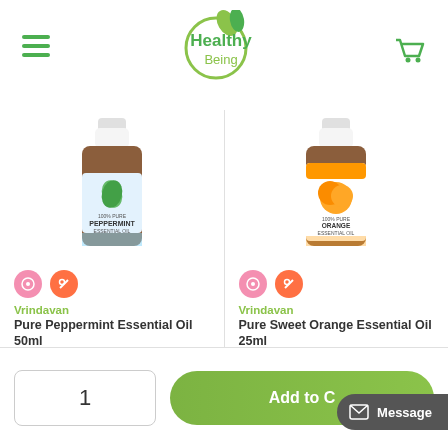Healthy Being
[Figure (photo): Vrindavan Pure Peppermint Essential Oil 50ml bottle with blue-green label]
Vrindavan
Pure Peppermint Essential Oil 50ml
AU $24.95
AU $23.40
[Figure (photo): Vrindavan Pure Sweet Orange Essential Oil 25ml bottle with orange label]
Vrindavan
Pure Sweet Orange Essential Oil 25ml
AU $12.95
AU $12.15
1
Add to C